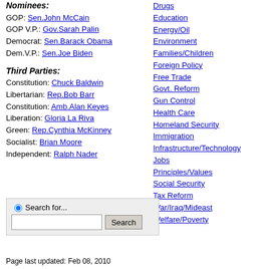Nominees: GOP: Sen.John McCain GOP V.P.: Gov.Sarah Palin Democrat: Sen.Barack Obama Dem.V.P.: Sen.Joe Biden
Third Parties: Constitution: Chuck Baldwin Libertarian: Rep.Bob Barr Constitution: Amb.Alan Keyes Liberation: Gloria La Riva Green: Rep.Cynthia McKinney Socialist: Brian Moore Independent: Ralph Nader
Drugs
Education
Energy/Oil
Environment
Families/Children
Foreign Policy
Free Trade
Govt. Reform
Gun Control
Health Care
Homeland Security
Immigration
Infrastructure/Technology
Jobs
Principles/Values
Social Security
Tax Reform
War/Iraq/Mideast
Welfare/Poverty
Page last updated: Feb 08, 2010